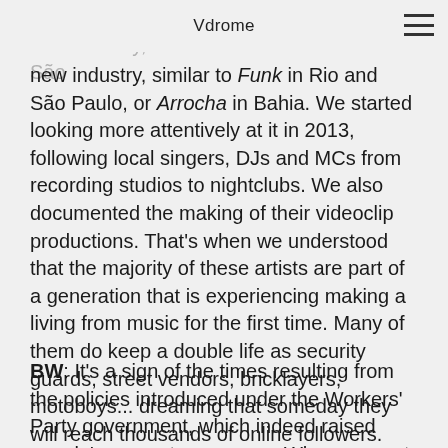Vdrome
exclusively for Youtube, the catalyst of that new industry, similar to Funk in Rio and São Paulo, or Arrocha in Bahia. We started looking more attentively at it in 2013, following local singers, DJs and MCs from recording studios to nightclubs. We also documented the making of their videoclip productions. That's when we understood that the majority of these artists are part of a generation that is experiencing making a living from music for the first time. Many of them do keep a double life as security guards, street vendors, bricklayers, motoboys... dreaming that someday they will reach thousands of online followers.
BW: It's a sign of the times resulting from the policies introduced under the Workers' Party government, which indeed raised people's power to consume. When we cast actual members of the